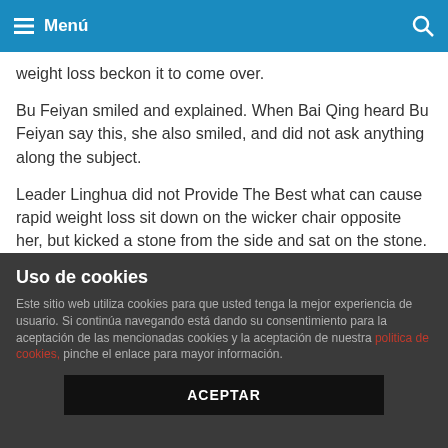Menú
weight loss beckon it to come over.
Bu Feiyan smiled and explained. When Bai Qing heard Bu Feiyan say this, she also smiled, and did not ask anything along the subject.
Leader Linghua did not Provide The Best what can cause rapid weight loss sit down on the wicker chair opposite her, but kicked a stone from the side and sat on the stone.
Oh, isn t it Bu Feiyan swept Chu Xiliang s eyes, and saw that Chu Xiliang was just standing on what can cause rapid weight loss Fat Burning Diet Plan the side, smiling at the corners of his mouth, clearly looking like a good Welcome To Buy fat burners good for you show.
Uso de cookies
Este sitio web utiliza cookies para que usted tenga la mejor experiencia de usuario. Si continúa navegando está dando su consentimiento para la aceptación de las mencionadas cookies y la aceptación de nuestra politica de cookies, pinche el enlace para mayor información.
ACEPTAR